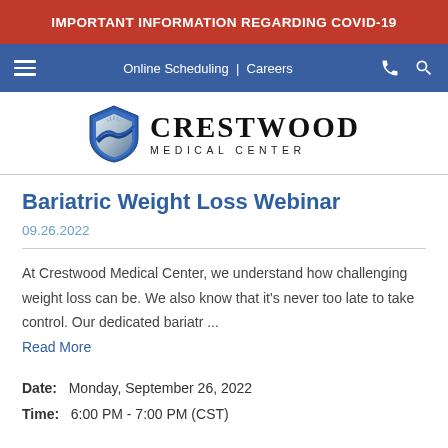IMPORTANT INFORMATION REGARDING COVID-19
Online Scheduling | Careers
[Figure (logo): Crestwood Medical Center logo with shield icon and text]
Bariatric Weight Loss Webinar
09.26.2022
At Crestwood Medical Center, we understand how challenging weight loss can be. We also know that it's never too late to take control. Our dedicated bariatr ...
Read More
Date:  Monday, September 26, 2022
Time:  6:00 PM - 7:00 PM (CST)